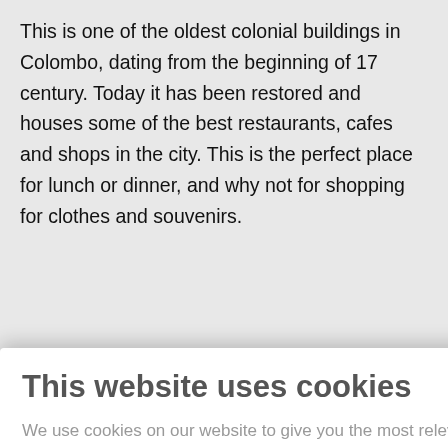This is one of the oldest colonial buildings in Colombo, dating from the beginning of 17 century. Today it has been restored and houses some of the best restaurants, cafes and shops in the city. This is the perfect place for lunch or dinner, and why not for shopping for clothes and souvenirs.
[Figure (screenshot): Cookie consent modal overlay with title 'This website uses cookies', body text about cookie usage, a 'Cookie settings' link button, and a green 'Accept' button.]
April and September are the best months to visit the eastern and northern parts of Sri Lanka. October and November are